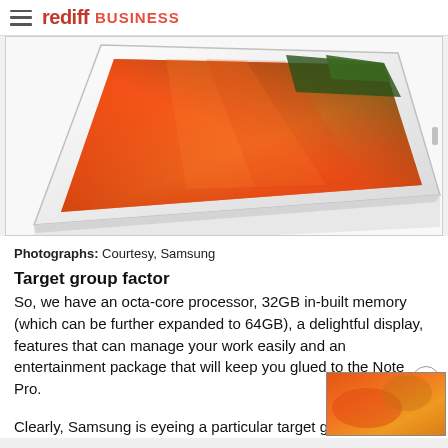rediff BUSINESS
[Figure (photo): Samsung Galaxy Note Pro tablet angled view with orange/red abstract wallpaper on display, white frame, shot from above on white background]
Photographs: Courtesy, Samsung
Target group factor
So, we have an octa-core processor, 32GB in-built memory (which can be further expanded to 64GB), a delightful display, features that can manage your work easily and an entertainment package that will keep you glued to the Note Pro.
Clearly, Samsung is eyeing a particular target gro…